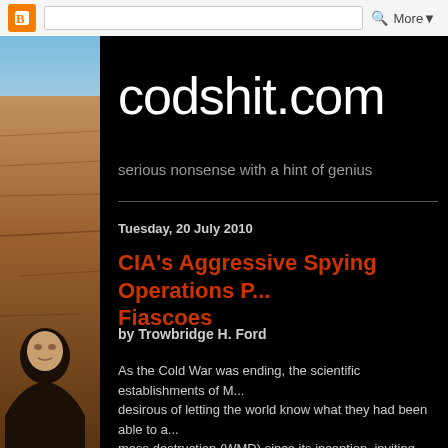Blogger | More ▼
codshit.com
serious nonsense with a hint of genius
Tuesday, 20 July 2010
CIA's Aggressive Spying Operations Produce Fiascoes
by Trowbridge H. Ford
As the Cold War was ending, the scientific establishments of M... desirous of letting the world know what they had been able to a... mass destruction (WMD) since its inception, inviting Danny Still... Technical Intelligence Division at the Los Alamos National...